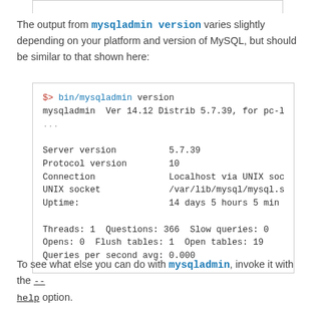The output from mysqladmin version varies slightly depending on your platform and version of MySQL, but should be similar to that shown here:
[Figure (screenshot): Code box showing terminal output of 'mysqladmin version' command including server version 5.7.39, protocol version 10, connection via localhost UNIX socket, UNIX socket path, uptime, threads, questions, slow queries, opens, flush tables, open tables, and queries per second.]
To see what else you can do with mysqladmin, invoke it with the --help option.